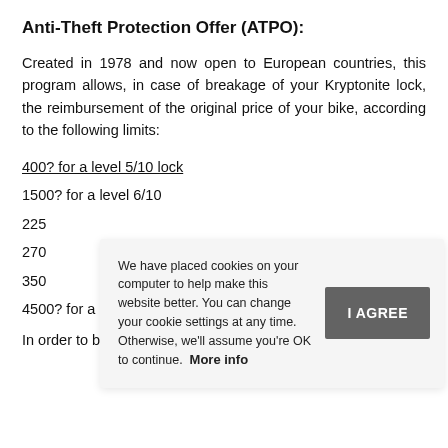Anti-Theft Protection Offer (ATPO):
Created in 1978 and now open to European countries, this program allows, in case of breakage of your Kryptonite lock, the reimbursement of the original price of your bike, according to the following limits:
400? for a level 5/10 lock
1500? for a level 6/10
225[partially obscured]
270[partially obscured]
350[partially obscured]
4500? for a level 10/10
In order to benefit from this device, you just have to